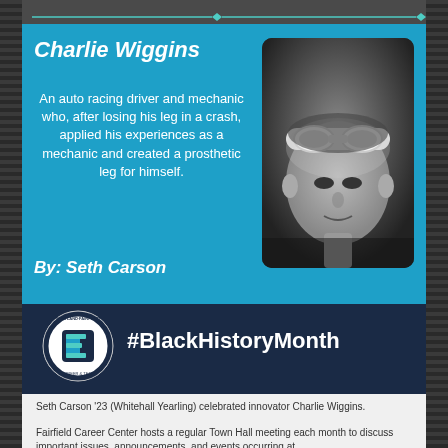Charlie Wiggins
An auto racing driver and mechanic who, after losing his leg in a crash, applied his experiences as a mechanic and created a prosthetic leg for himself.
By: Seth Carson
[Figure (photo): Black and white photo of Charlie Wiggins wearing racing goggles on his head, looking at camera]
[Figure (logo): Eastland-Fairfield Career & Tech circular logo with E monogram]
#BlackHistoryMonth
Seth Carson '23 (Whitehall Yearling) celebrated innovator Charlie Wiggins.
Fairfield Career Center hosts a regular Town Hall meeting each month to discuss important issues, announcements, and events occurring at